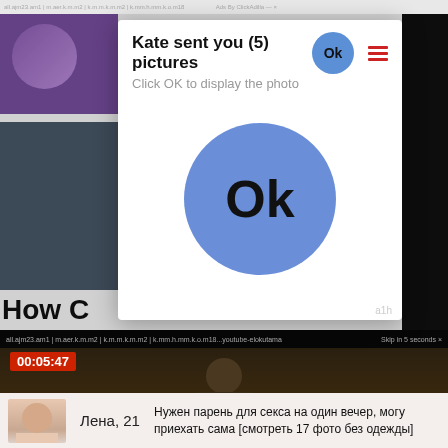[Figure (screenshot): Screenshot of a webpage showing a modal popup dialog with 'Kate sent you (5) pictures' message and a large blue OK button, overlaying a website with video content, with a Russian-language ad banner at the bottom]
Kate sent you (5) pictures
Click OK to display the photo
Ok
How C...
00:05:47
Skip in 5 seconds ×
Лена, 21
Нужен парень для секса на один вечер, могу приехать сама [смотреть 17 фото без одежды]